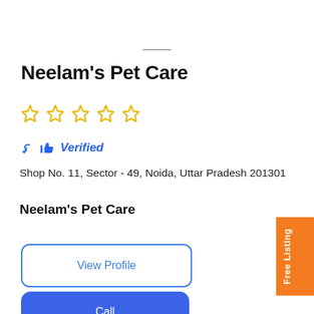Neelam's Pet Care
[Figure (other): Five empty star rating icons in gold/yellow outline]
Verified
Shop No. 11, Sector - 49, Noida, Uttar Pradesh 201301
Neelam's Pet Care
View Profile
Call
Free Listing